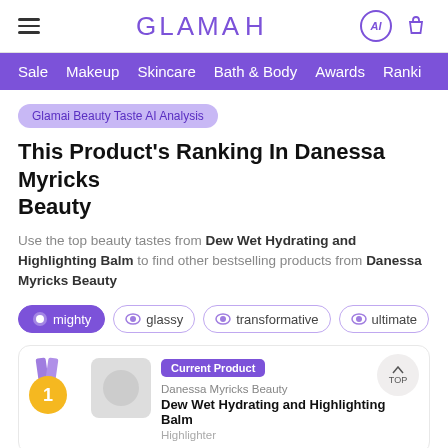GLAMAI
Sale  Makeup  Skincare  Bath & Body  Awards  Rankings
Glamai Beauty Taste AI Analysis
This Product's Ranking In Danessa Myricks Beauty
Use the top beauty tastes from Dew Wet Hydrating and Highlighting Balm to find other bestselling products from Danessa Myricks Beauty
mighty
glassy
transformative
ultimate
Current Product
Danessa Myricks Beauty
Dew Wet Hydrating and Highlighting Balm
Highlighter